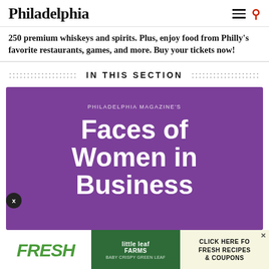Philadelphia
250 premium whiskeys and spirits. Plus, enjoy food from Philly's favorite restaurants, games, and more. Buy your tickets now!
IN THIS SECTION
[Figure (illustration): Purple promotional banner for Philadelphia Magazine's 'Faces of Women in Business' feature, with white bold text on purple background.]
[Figure (illustration): Advertisement bar showing 'FRESH' in green italic text, Little Leaf Farms logo with baby crispy green leaf image, and 'CLICK HERE FOR FRESH RECIPES & COUPONS' text on the right.]